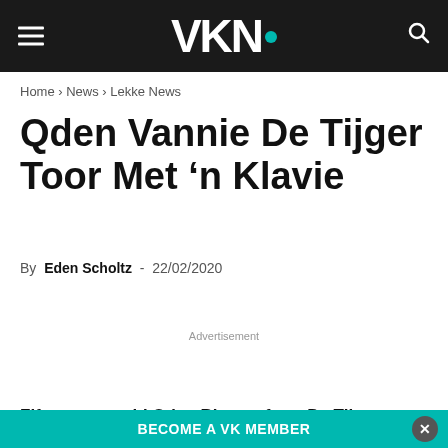VKN.
Home › News › Lekke News
Qden Vannie De Tijger Toor Met 'n Klavie
By Eden Scholtz - 22/02/2020
Advertisement
Fifteen-year-old Oden Blaauw from De Tijger
BECOME A VK MEMBER